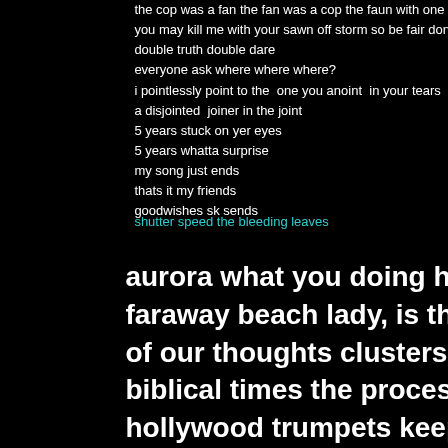the cop was a fan the fan was a cop the faun with one
you may kill me with your sawn off storm so be fair don
double truth double dare
everyone ask where where where?
i pointlessly point to the  one you anoint  in your tears
a disjointed  joiner in the joint
5 years stuck on yer eyes
5 years whatta surprise
my song just ends
thats it my friends
goodwishes sk sends
shutter speed the bleeding leaves
aurora what you doing here…..? w
faraway beach lady, is this illyria? 
of our thoughts clusters of ideas c
biblical times the procession of ki
hollywood trumpets keep on rocki
when i first heard some of my mus